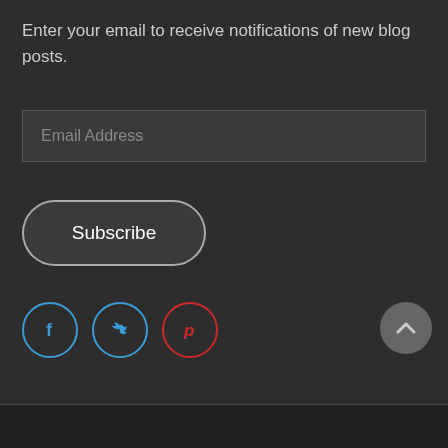Enter your email to receive notifications of new blog posts.
Email Address
Subscribe
[Figure (other): Three social media icon circles: Facebook (blue), Twitter (blue), Pinterest (red)]
[Figure (other): Back to top arrow button, circular grey button with upward chevron]
© 2022 Chapter 3 Ministries All Rights Reserved